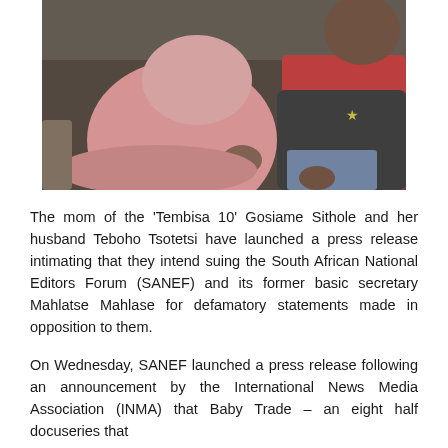[Figure (photo): A pregnant woman in pink clothing sitting next to a man in a red shirt and dark jacket on a couch]
The mom of the 'Tembisa 10' Gosiame Sithole and her husband Teboho Tsotetsi have launched a press release intimating that they intend suing the South African National Editors Forum (SANEF) and its former basic secretary Mahlatse Mahlase for defamatory statements made in opposition to them.
On Wednesday, SANEF launched a press release following an announcement by the International News Media Association (INMA) that Baby Trade – an eight half docuseries that